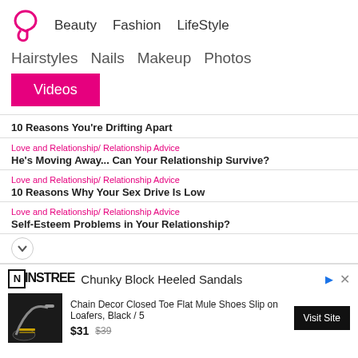Beauty  Fashion  LifeStyle
Hairstyles  Nails  Makeup  Photos
Videos
10 Reasons You're Drifting Apart
Love and Relationship/ Relationship Advice
He's Moving Away... Can Your Relationship Survive?
Love and Relationship/ Relationship Advice
10 Reasons Why Your Sex Drive Is Low
Love and Relationship/ Relationship Advice
Self-Esteem Problems in Your Relationship?
[Figure (screenshot): Advertisement for NINSTREE Chunky Block Heeled Sandals showing Chain Decor Closed Toe Flat Mule Shoes Slip on Loafers, Black / 5 for $31 (was $39) with Visit Site button]